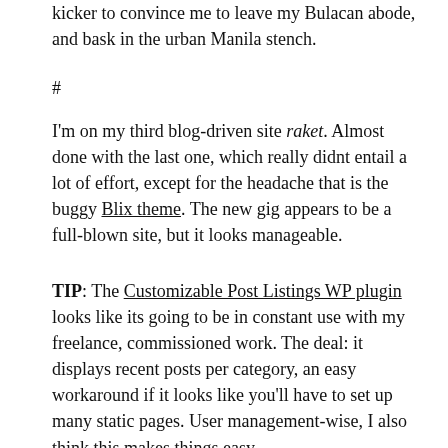kicker to convince me to leave my Bulacan abode, and bask in the urban Manila stench.
#
I'm on my third blog-driven site raket. Almost done with the last one, which really didnt entail a lot of effort, except for the headache that is the buggy Blix theme. The new gig appears to be a full-blown site, but it looks manageable.
TIP: The Customizable Post Listings WP plugin looks like its going to be in constant use with my freelance, commissioned work. The deal: it displays recent posts per category, an easy workaround if it looks like you'll have to set up many static pages. User management-wise, I also think this makes things easy.